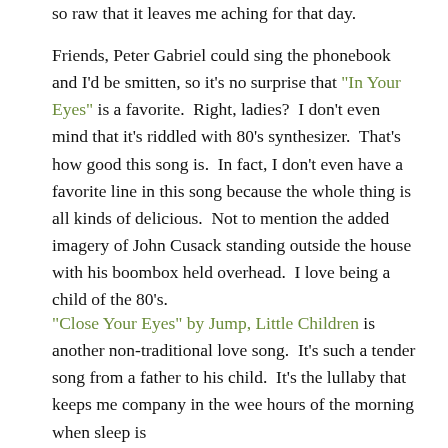so raw that it leaves me aching for that day.
Friends, Peter Gabriel could sing the phonebook and I'd be smitten, so it's no surprise that "In Your Eyes" is a favorite.  Right, ladies?  I don't even mind that it's riddled with 80's synthesizer.  That's how good this song is.  In fact, I don't even have a favorite line in this song because the whole thing is all kinds of delicious.  Not to mention the added imagery of John Cusack standing outside the house with his boombox held overhead.  I love being a child of the 80's.
"Close Your Eyes" by Jump, Little Children is another non-traditional love song.  It's such a tender song from a father to his child.  It's the lullaby that keeps me company in the wee hours of the morning when sleep is